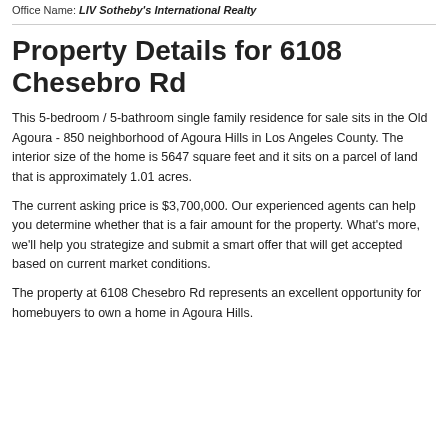Office Name: LIV Sotheby's International Realty
Property Details for 6108 Chesebro Rd
This 5-bedroom / 5-bathroom single family residence for sale sits in the Old Agoura - 850 neighborhood of Agoura Hills in Los Angeles County. The interior size of the home is 5647 square feet and it sits on a parcel of land that is approximately 1.01 acres.
The current asking price is $3,700,000. Our experienced agents can help you determine whether that is a fair amount for the property. What's more, we'll help you strategize and submit a smart offer that will get accepted based on current market conditions.
The property at 6108 Chesebro Rd represents an excellent opportunity for homebuyers to own a home in Agoura Hills.